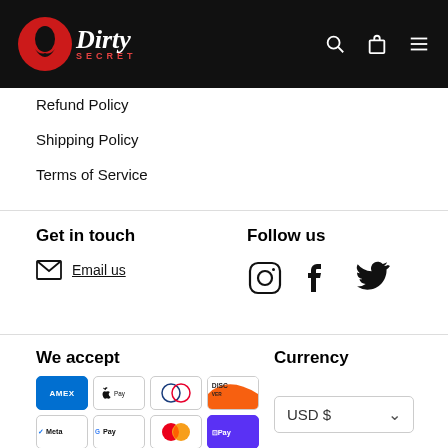Dirty Secret
Refund Policy
Shipping Policy
Terms of Service
Get in touch
Email us
Follow us
[Figure (other): Social media icons: Instagram, Facebook, Twitter]
We accept
[Figure (other): Payment method icons: Amex, Apple Pay, Diners Club, Discover, Meta Pay, Google Pay, Mastercard, ShopPay, Visa, AfterPay]
Currency
USD $